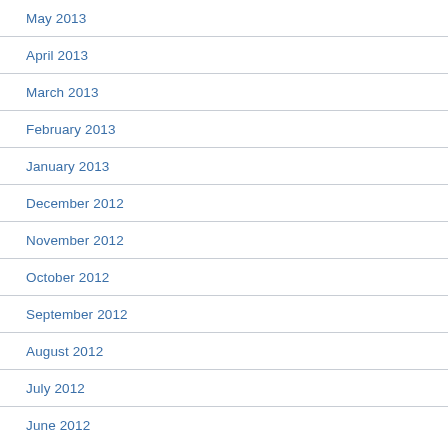May 2013
April 2013
March 2013
February 2013
January 2013
December 2012
November 2012
October 2012
September 2012
August 2012
July 2012
June 2012